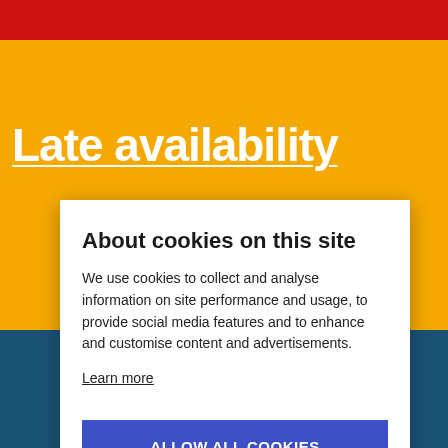Late availability
About cookies on this site
We use cookies to collect and analyse information on site performance and usage, to provide social media features and to enhance and customise content and advertisements.
Learn more
ALLOW ALL COOKIES
COOKIE SETTINGS